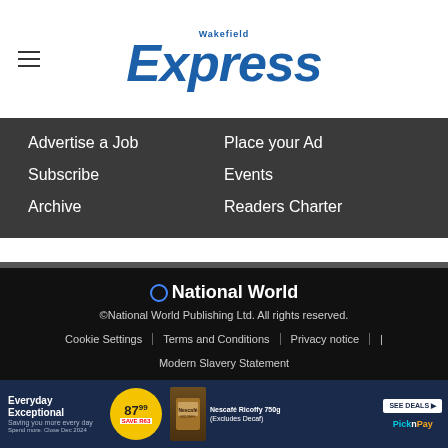Wakefield Express
Advertise a Job
Place your Ad
Subscribe
Events
Archive
Readers Charter
National World
©National World Publishing Ltd. All rights reserved.
Cookie Settings | Terms and Conditions | Privacy notice | Modern Slavery Statement
[Figure (infographic): Advertisement banner for Pick n Pay: Everyday Exceptional, 87.99 price, Nescafe Ricoffy 750g (Excludes Decaf), SEE DEALS button, Pick n Pay logo]